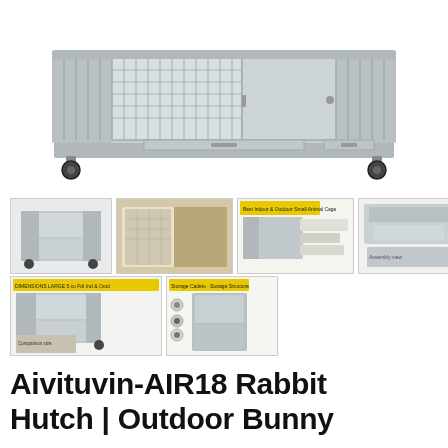[Figure (photo): Large gray rabbit hutch on wheels with wire mesh top and wooden sides, front view showing two compartments]
[Figure (photo): Six product thumbnail images showing different views of the Aivituvin-AIR18 rabbit hutch: exterior view, interior view with rabbit, feature diagram, component breakdown, large version comparison, and storage detail]
Aivituvin-AIR18 Rabbit Hutch | Outdoor Bunny